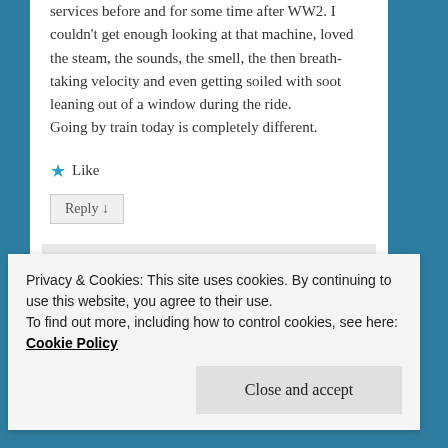services before and for some time after WW2. I couldn't get enough looking at that machine, loved the steam, the sounds, the smell, the then breath-taking velocity and even getting soiled with soot leaning out of a window during the ride.
Going by train today is completely different.
★ Like
Reply ↓
adrianleverkuhnwrites on June 6, 2017 at 3:08 am said:
Privacy & Cookies: This site uses cookies. By continuing to use this website, you agree to their use.
To find out more, including how to control cookies, see here: Cookie Policy
Close and accept